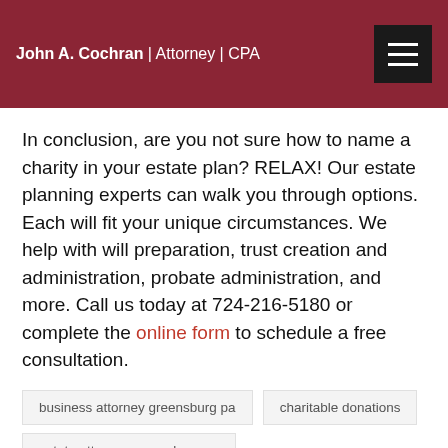John A. Cochran | Attorney | CPA
In conclusion, are you not sure how to name a charity in your estate plan? RELAX! Our estate planning experts can walk you through options. Each will fit your unique circumstances. We help with will preparation, trust creation and administration, probate administration, and more. Call us today at 724-216-5180 or complete the online form to schedule a free consultation.
business attorney greensburg pa
charitable donations
estate attorney greensburg pa
estate attorney westmoreland county pa
estate planning
estate planning attorney greensburg pa